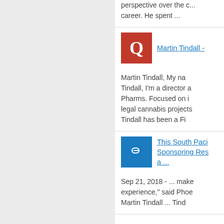perspective over the career. He spent ...
[Figure (logo): Quora red Q logo icon]
Martin Tindall -
Martin Tindall, My na Tindall, I'm a director a Pharms. Focused on i legal cannabis projects Tindall has been a Fi
[Figure (logo): Blue link/chain icon]
This South Paci Sponsoring Res a ...
Sep 21, 2018 - ... make experience," said Phoe Martin Tindall ... Tind